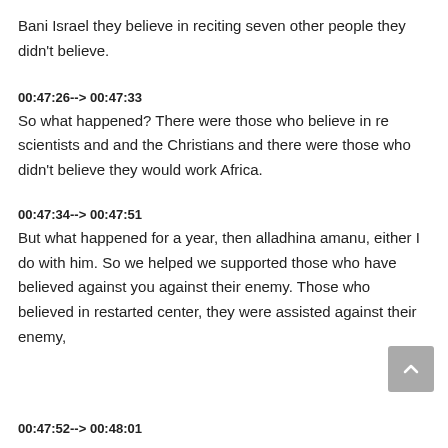Bani Israel they believe in reciting seven other people they didn't believe.
00:47:26--> 00:47:33
So what happened? There were those who believe in re scientists and and the Christians and there were those who didn't believe they would work Africa.
00:47:34--> 00:47:51
But what happened for a year, then alladhina amanu, either I do with him. So we helped we supported those who have believed against you against their enemy. Those who believed in restarted center, they were assisted against their enemy,
00:47:52--> 00:48:01